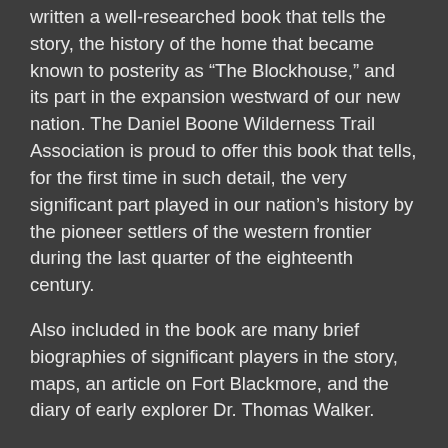written a well-researched book that tells the story, the history of the home that became known to posterity as “The Blockhouse,” and its part in the expansion westward of our new nation. The Daniel Boone Wilderness Trail Association is proud to offer this book that tells, for the first time in such detail, the very significant part played in our nation’s history by the pioneer settlers of the western frontier during the last quarter of the eighteenth century.
Also included in the book are many brief biographies of significant players in the story, maps, an article on Fort Blackmore, and the diary of early explorer Dr. Thomas Walker.
The book may be purchased for $19.95 at Natural Tunnel State Park at the Visitor’s Center and at the Wilderness Road Blockhouse Interpretive Center (276-940-2674) and at the law offices of Lisa Ann McConnell